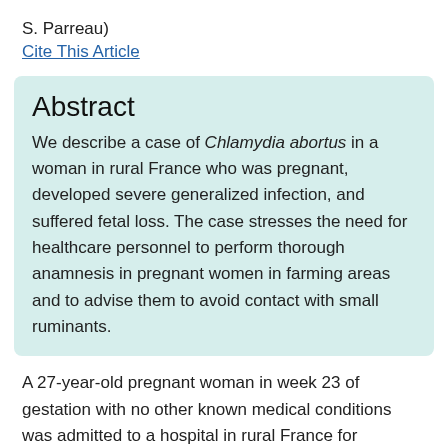S. Parreau)
Cite This Article
Abstract
We describe a case of Chlamydia abortus in a woman in rural France who was pregnant, developed severe generalized infection, and suffered fetal loss. The case stresses the need for healthcare personnel to perform thorough anamnesis in pregnant women in farming areas and to advise them to avoid contact with small ruminants.
A 27-year-old pregnant woman in week 23 of gestation with no other known medical conditions was admitted to a hospital in rural France for influenza-like illness, headache, dry cough, and fever